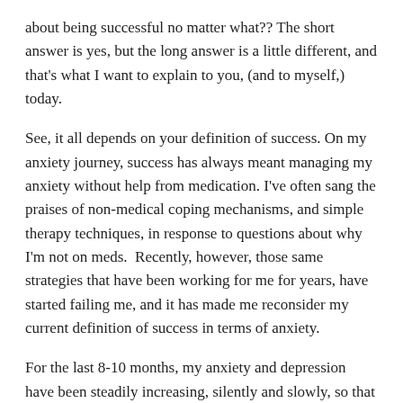about being successful no matter what?? The short answer is yes, but the long answer is a little different, and that's what I want to explain to you, (and to myself,) today.
See, it all depends on your definition of success. On my anxiety journey, success has always meant managing my anxiety without help from medication. I've often sang the praises of non-medical coping mechanisms, and simple therapy techniques, in response to questions about why I'm not on meds.  Recently, however, those same strategies that have been working for me for years, have started failing me, and it has made me reconsider my current definition of success in terms of anxiety.
For the last 8-10 months, my anxiety and depression have been steadily increasing, silently and slowly, so that I haven't really noticed. On a scale of 1-10 with 1 being relaxed by the pool with a drink in my hand, and 10 being watching a toddler slip over the edge of the Grand Canyon, I used to float at around a 4; what I would describe as the average person's fear of public speaking. 4